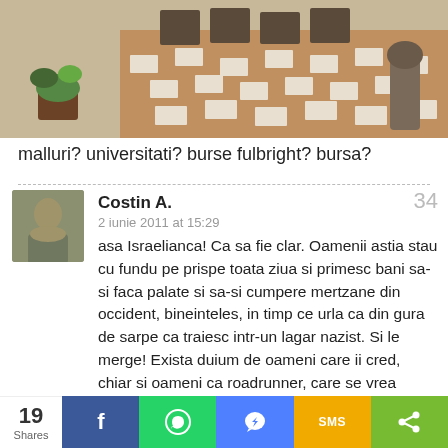[Figure (photo): Photo of a tiled floor with patio furniture and potted plants, seen from above at an angle]
malluri? universitati? burse fulbright? bursa?
Costin A.
2 iunie 2011 at 15:29
asa Israelianca! Ca sa fie clar. Oamenii astia stau cu fundu pe prispe toata ziua si primesc bani sa-si faca palate si sa-si cumpere mertzane din occident, bineinteles, in timp ce urla ca din gura de sarpe ca traiesc intr-un lagar nazist. Si le merge! Exista duium de oameni care ii cred, chiar si oameni ca roadrunner, care se vrea proisrael. Dar banuiesc ca lui 'i se rupe' prea tare ca sa fie destul de interesat
19 Shares